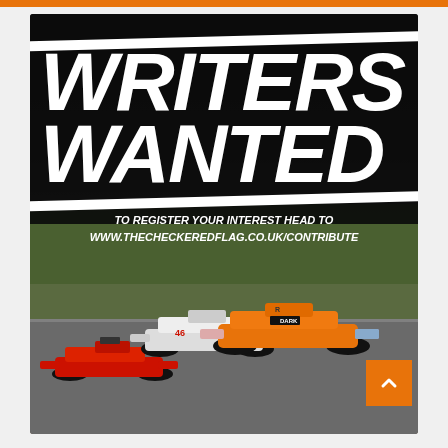[Figure (photo): Advertisement/promotional image for The Checkered Flag website. Dark background with large bold white italic text 'WRITERS WANTED' overlaid on a Formula 1 race photo showing McLaren (orange), Ferrari (red), and Haas (white) cars racing on track. White diagonal stripes separate the text area from the photo. Text reads: 'TO REGISTER YOUR INTEREST HEAD TO WWW.THECHECKEREDFLAG.CO.UK/CONTRIBUTE'. An orange scroll-up button is visible in the bottom right.]